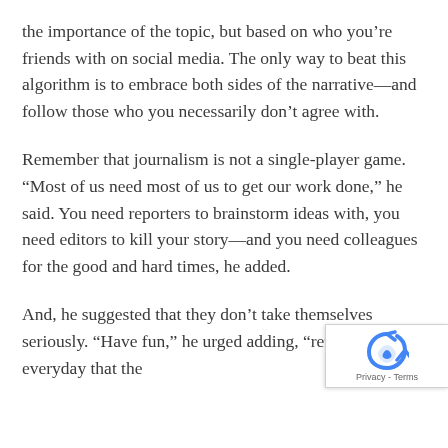the importance of the topic, but based on who you’re friends with on social media. The only way to beat this algorithm is to embrace both sides of the narrative—and follow those who you necessarily don’t agree with.
Remember that journalism is not a single-player game. “Most of us need most of us to get our work done,” he said. You need reporters to brainstorm ideas with, you need editors to kill your story—and you need colleagues for the good and hard times, he added.
And, he suggested that they don’t take themselves seriously. “Have fun,” he urged adding, “remind yourself everyday that the